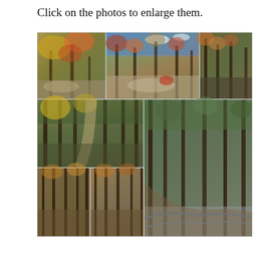Click on the photos to enlarge them.
[Figure (photo): Collage of 7 autumn forest trail photos showing fall foliage, rocky outcroppings, wooded paths, and a creek scene. Top row: three photos of autumn hillside with colorful fall leaves and rocky terrain. Middle row: two photos — a pine-lined forest trail path and a creek with tall trees. Bottom row: two smaller photos of bare autumn trees and forest floor.]